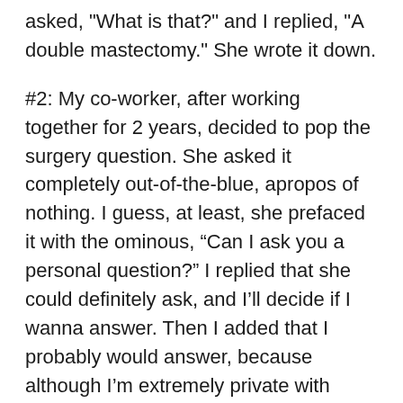asked, "What is that?" and I replied, "A double mastectomy." She wrote it down.
#2: My co-worker, after working together for 2 years, decided to pop the surgery question. She asked it completely out-of-the-blue, apropos of nothing. I guess, at least, she prefaced it with the ominous, “Can I ask you a personal question?” I replied that she could definitely ask, and I’ll decide if I wanna answer. Then I added that I probably would answer, because although I’m extremely private with stuff, at work, I am willing to open up if people are putting in the effort. When it was THAT question, however, I told her I wasn’t going to be answering it. I am glad she asked though, and told her as much, because it led to a long conversation in which I talked to her about a bunch of other things that have been long overdue for her to know about. Such as, I don’t actually identify as a man.